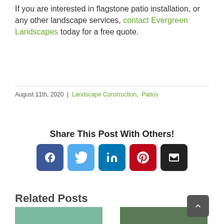If you are interested in flagstone patio installation, or any other landscape services, contact Evergreen Landscapes today for a free quote.
August 11th, 2020 | Landscape Construction, Patios
Share This Post With Others!
[Figure (infographic): Social sharing buttons: Facebook, Twitter, LinkedIn, Pinterest, Email]
Related Posts
[Figure (photo): Thumbnail image of landscape/trees on the left]
[Figure (photo): Thumbnail image of landscape/trees on the right]